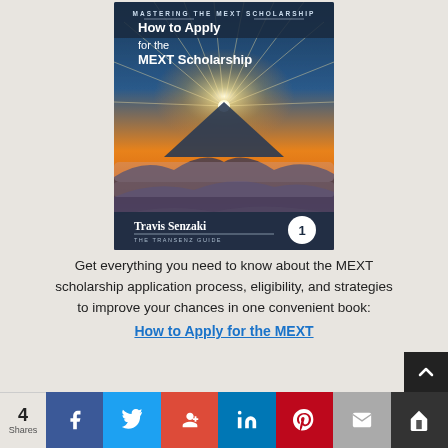[Figure (illustration): Book cover for 'How to Apply for the MEXT Scholarship' by Travis Senzaki. Shows a mountain landscape at sunrise/sunset with rays of light emanating from behind a mountain peak (resembling Mt. Fuji). Text at top reads 'MASTERING THE MEXT SCHOLARSHIP' and main title 'How to Apply for the MEXT Scholarship'. Author name 'Travis Senzaki' and 'THE TRANSENZ GUIDE' at bottom with a circle containing '1'.]
Get everything you need to know about the MEXT scholarship application process, eligibility, and strategies to improve your chances in one convenient book:
How to Apply for the MEXT
4 Shares | Facebook | Twitter | Google+ | LinkedIn | Pinterest | Email | Bookmark